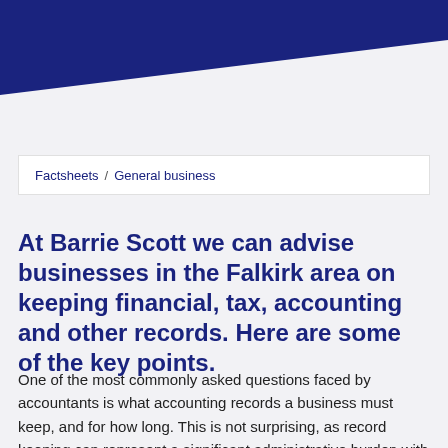[Figure (illustration): Dark navy blue diagonal banner graphic occupying the top portion of the page, with a white diagonal cut at the bottom left.]
Factsheets / General business
At Barrie Scott we can advise businesses in the Falkirk area on keeping financial, tax, accounting and other records. Here are some of the key points.
One of the most commonly asked questions faced by accountants is what accounting records a business must keep, and for how long. This is not surprising, as record keeping can represent a significant administrative burden with associated costs. It can also